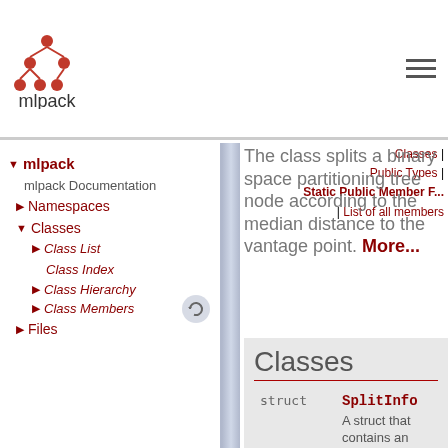mlpack
mlpack
mlpack Documentation
Namespaces
Classes
Class List
Class Index
Class Hierarchy
Class Members
Files
The class splits a binary space partitioning tree node according to the median distance to the vantage point. More...
Classes
|  | Name | Description |
| --- | --- | --- |
| struct | SplitInfo | A struct that contains an information about the split. |